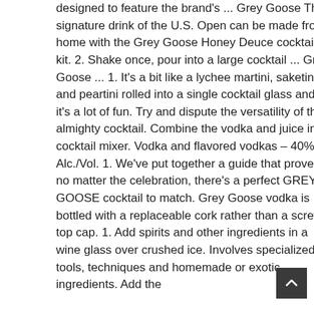designed to feature the brand's ... Grey Goose The signature drink of the U.S. Open can be made from home with the Grey Goose Honey Deuce cocktail kit. 2. Shake once, pour into a large cocktail ... Grey Goose ... 1. It's a bit like a lychee martini, saketini and peartini rolled into a single cocktail glass and it's a lot of fun. Try and dispute the versatility of the almighty cocktail. Combine the vodka and juice in a cocktail mixer. Vodka and flavored vodkas – 40% Alc./Vol. 1. We've put together a guide that proves no matter the celebration, there's a perfect GREY GOOSE cocktail to match. Grey Goose vodka is bottled with a replaceable cork rather than a screw-top cap. 1. Add spirits and other ingredients in a wine glass over crushed ice. Involves specialized tools, techniques and homemade or exotic ingredients. Add the
[Figure (other): Dark grey square button with a small upward-pointing caret/arrow icon in the center, used as a scroll-to-top button.]